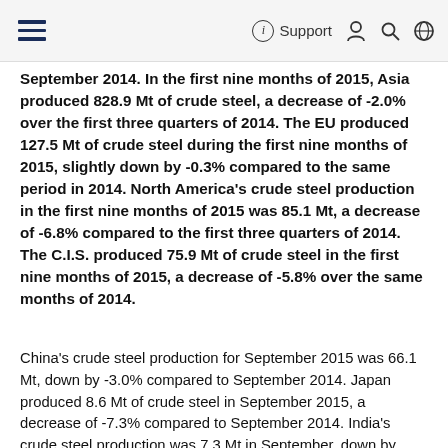Support
September 2014. In the first nine months of 2015, Asia produced 828.9 Mt of crude steel, a decrease of -2.0% over the first three quarters of 2014. The EU produced 127.5 Mt of crude steel during the first nine months of 2015, slightly down by -0.3% compared to the same period in 2014. North America's crude steel production in the first nine months of 2015 was 85.1 Mt, a decrease of -6.8% compared to the first three quarters of 2014. The C.I.S. produced 75.9 Mt of crude steel in the first nine months of 2015, a decrease of -5.8% over the same months of 2014.
China's crude steel production for September 2015 was 66.1 Mt, down by -3.0% compared to September 2014. Japan produced 8.6 Mt of crude steel in September 2015, a decrease of -7.3% compared to September 2014. India's crude steel production was 7.3 Mt in September, down by -1.4% on the